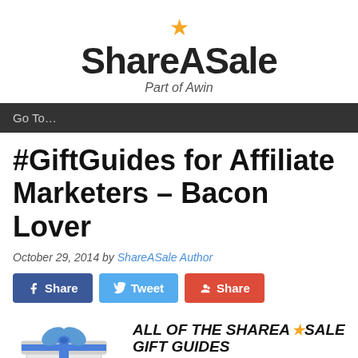[Figure (logo): ShareASale logo with gold star above text and 'Part of Awin' tagline]
Go To…
#GiftGuides for Affiliate Marketers – Bacon Lover
October 29, 2014 by ShareASale Author
[Figure (infographic): Social share buttons: Facebook Share, Tweet, Google+ Share]
[Figure (infographic): Banner: ALL OF THE SHAREASALE GIFT GUIDES DOWNLOAD PDF with gift box and star graphic]